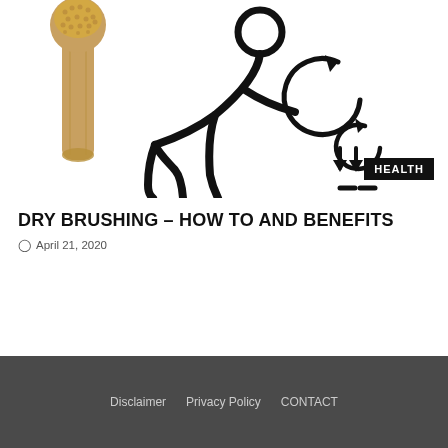[Figure (illustration): A wooden dry brush on the left side and a line-drawing silhouette of a person bending forward with circular arrows indicating brushing technique on the skin, with a HEALTH badge overlay in the bottom right.]
DRY BRUSHING – HOW TO AND BENEFITS
April 21, 2020
Disclaimer   Privacy Policy   CONTACT